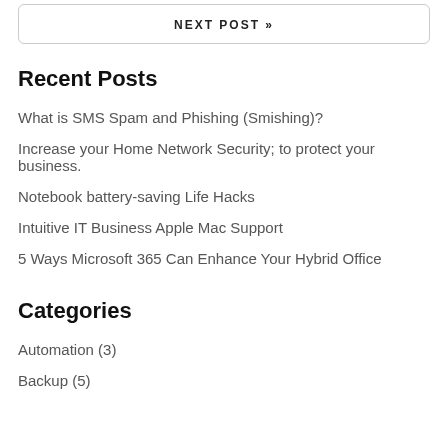NEXT POST »
Recent Posts
What is SMS Spam and Phishing (Smishing)?
Increase your Home Network Security; to protect your business.
Notebook battery-saving Life Hacks
Intuitive IT Business Apple Mac Support
5 Ways Microsoft 365 Can Enhance Your Hybrid Office
Categories
Automation  (3)
Backup  (5)